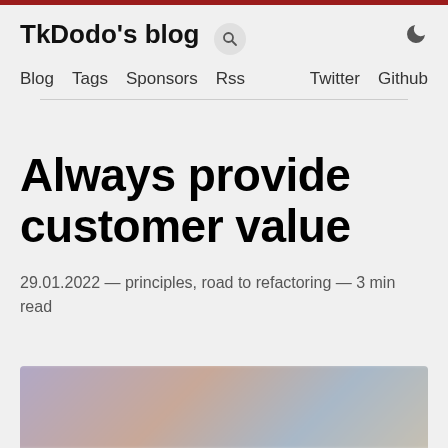TkDodo's blog
Blog  Tags  Sponsors  Rss  Twitter  Github
Always provide customer value
29.01.2022 — principles, road to refactoring — 3 min read
[Figure (photo): Blurred abstract photo used as article header image]